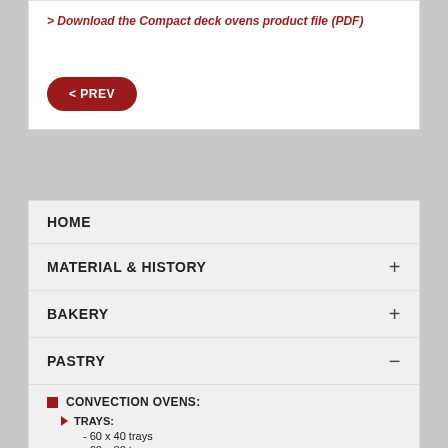> Download the Compact deck ovens product file (PDF)
< PREV
HOME
MATERIAL & HISTORY
BAKERY
PASTRY
CONVECTION OVENS:
TRAYS:
- 60 x 40 trays
- 60 x 80 trays
- 80 x 40 trays
FIXED RACK:
• BV 80
• BV 96
• BV 120